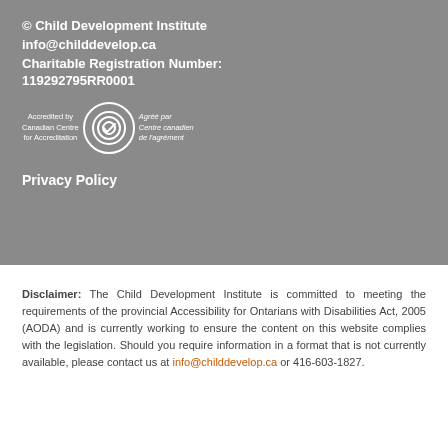© Child Development Institute
info@childdevelop.ca
Charitable Registration Number: 119292795RR0001
[Figure (logo): Canadian Centre for Accreditation logo with spiral/checkmark emblem and bilingual text: 'Accredited by Canadian Centre for Accreditation' and 'Agréé par Centre canadien de l'agrément']
Privacy Policy
Disclaimer: The Child Development Institute is committed to meeting the requirements of the provincial Accessibility for Ontarians with Disabilities Act, 2005 (AODA) and is currently working to ensure the content on this website complies with the legislation. Should you require information in a format that is not currently available, please contact us at info@childdevelop.ca or 416-603-1827.